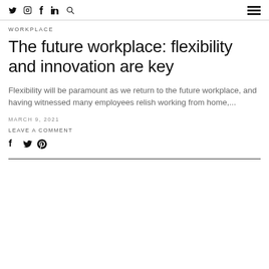Twitter Instagram Facebook LinkedIn Search | Menu
WORKPLACE
The future workplace: flexibility and innovation are key
Flexibility will be paramount as we return to the future workplace, and having witnessed many employees relish working from home,...
MARCH 9, 2021
LEAVE A COMMENT